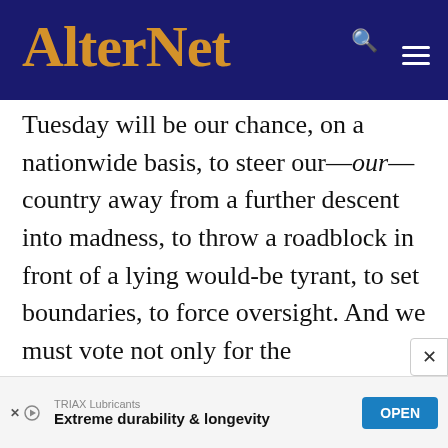AlterNet
Tuesday will be our chance, on a nationwide basis, to steer our—our—country away from a further descent into madness, to throw a roadblock in front of a lying would-be tyrant, to set boundaries, to force oversight. And we must vote not only for the representatives who will challenge his policies and investigate his scheming in Washington but for the state officials and legislators who will press for reform, change voting laws and oversee
[Figure (other): Advertisement banner for TRIAX Lubricants with text 'Extreme durability & longevity' and an OPEN button]